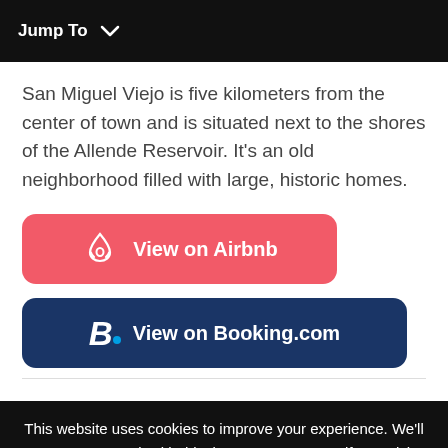Jump To ∨
San Miguel Viejo is five kilometers from the center of town and is situated next to the shores of the Allende Reservoir. It's an old neighborhood filled with large, historic homes.
[Figure (other): Red rounded button with Airbnb logo and text 'View on Airbnb']
[Figure (other): Dark blue rounded button with Booking.com B logo and text 'View on Booking.com']
This website uses cookies to improve your experience. We'll assume you're ok with this, but you can opt-out if you wish. More information. Close